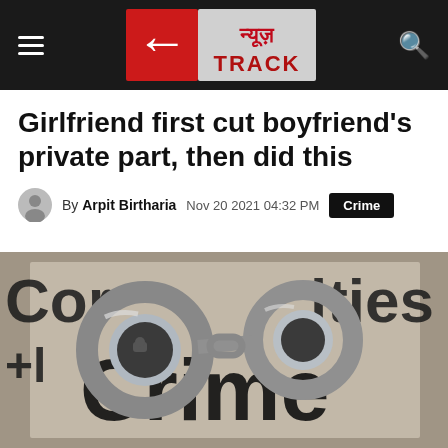न्यूज़ TRACK — News Track website header with hamburger menu and search icon
Girlfriend first cut boyfriend's private part, then did this
By Arpit Birtharia  Nov 20 2021 04:32 PM  Crime
[Figure (photo): Close-up photo of handcuffs lying on a newspaper/paper with large bold text reading 'Crime' and partial text 'Cor', 'ities', '+l' visible around the edges]